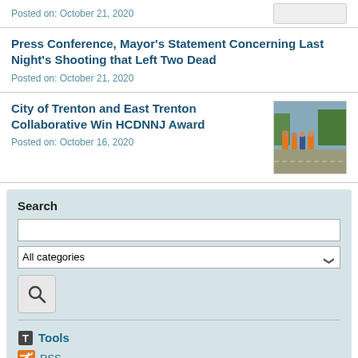Posted on: October 21, 2020
Press Conference, Mayor's Statement Concerning Last Night's Shooting that Left Two Dead
Posted on: October 21, 2020
City of Trenton and East Trenton Collaborative Win HCDNNJ Award
[Figure (photo): Group photo of people standing on a street, some wearing orange vests]
Posted on: October 16, 2020
Search
All categories
Tools
RSS
Categories